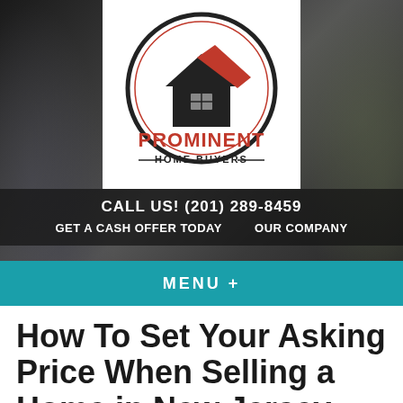[Figure (logo): Prominent Home Buyers logo — circular emblem with house silhouette, red roof accent, black circle border. Text: PROMINENT in red, HOME BUYERS in black arc below, on white background.]
CALL US! (201) 289-8459
GET A CASH OFFER TODAY   OUR COMPANY
MENU +
How To Set Your Asking Price When Selling a Home in New Jersey